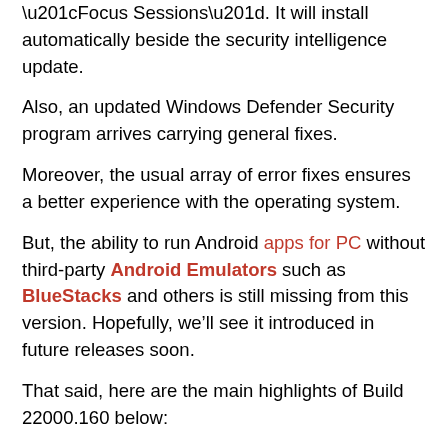“Focus Sessions”. It will install automatically beside the security intelligence update.
Also, an updated Windows Defender Security program arrives carrying general fixes.
Moreover, the usual array of error fixes ensures a better experience with the operating system.
But, the ability to run Android apps for PC without third-party Android Emulators such as BlueStacks and others is still missing from this version. Hopefully, we’ll see it introduced in future releases soon.
That said, here are the main highlights of Build 22000.160 below:
Focus Timer: This allows you to set goals within the Clock app alongside usual time configuration options.
Spotify Integration: Listening to good music helps keep